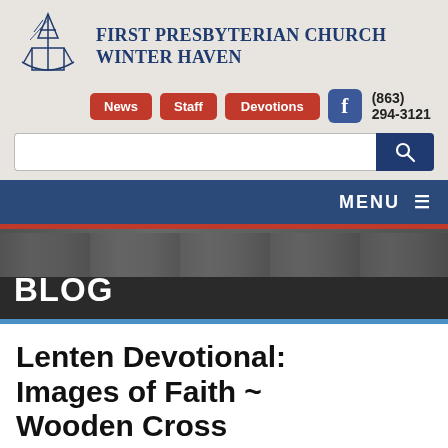[Figure (logo): First Presbyterian Church Winter Haven logo with church steeple illustration and church name text]
First Presbyterian Church Winter Haven
[Figure (screenshot): Website navigation header with News, Staff, Devotions buttons, Facebook icon, phone number (863) 294-3121, search bar, MENU bar, hero image with BLOG label]
Lenten Devotional: Images of Faith ~ Wooden Cross